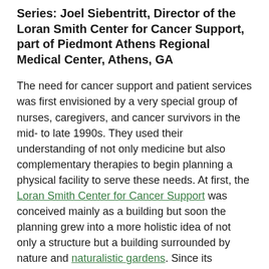Series: Joel Siebentritt, Director of the Loran Smith Center for Cancer Support, part of Piedmont Athens Regional Medical Center, Athens, GA
The need for cancer support and patient services was first envisioned by a very special group of nurses, caregivers, and cancer survivors in the mid- to late 1990s. They used their understanding of not only medicine but also complementary therapies to begin planning a physical facility to serve these needs. At first, the Loran Smith Center for Cancer Support was conceived mainly as a building but soon the planning grew into a more holistic idea of not only a structure but a building surrounded by nature and naturalistic gardens. Since its inception, the Center has grown from an idea and an unused piece of property on the edge of the hospital campus into a vital center of support for patients, caregivers, and family member. The healing garden is an important and integral part of the Center's mission and is designed to serve the hospital, its